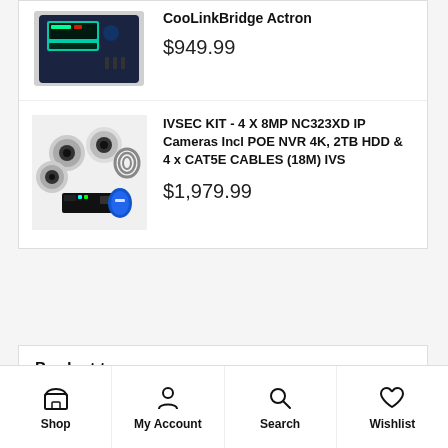[Figure (photo): IVSEC security camera kit: 4 dome cameras, NVR recorder, HDD, cables]
IVSEC KIT - 4 X 8MP NC323XD IP Cameras Incl POE NVR 4K, 2TB HDD & 4 x CAT5E CABLES (18M) IVS
$1,979.99
Product tags
4K
8MP
accessories
AEOTEC
Shop | My Account | Search | Wishlist